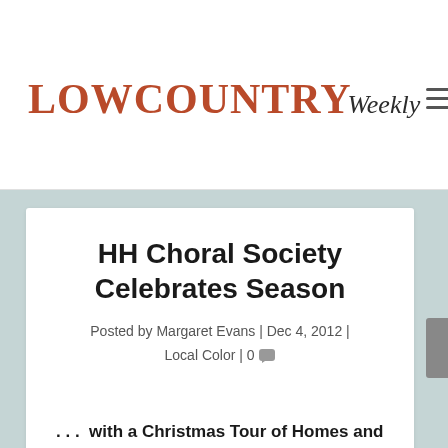LOWCOUNTRY Weekly
HH Choral Society Celebrates Season
Posted by Margaret Evans | Dec 4, 2012 | Local Color | 0
... with a Christmas Tour of Homes and Holiday Concert